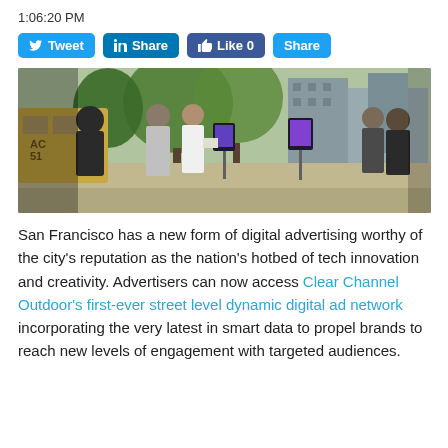1:06:20 PM
[Figure (screenshot): Social media sharing buttons: Tweet (Twitter, blue), Share (LinkedIn, blue), Like 0 (Facebook, blue), Share (blue)]
[Figure (photo): Street scene in San Francisco with people walking, trees, digital advertising screens, and buildings in background]
San Francisco has a new form of digital advertising worthy of the city’s reputation as the nation’s hotbed of tech innovation and creativity. Advertisers can now access Clear Channel Outdoor’s first-ever street level dynamic digital ad network incorporating the very latest in smart data to propel brands to reach new levels of engagement with targeted audiences.